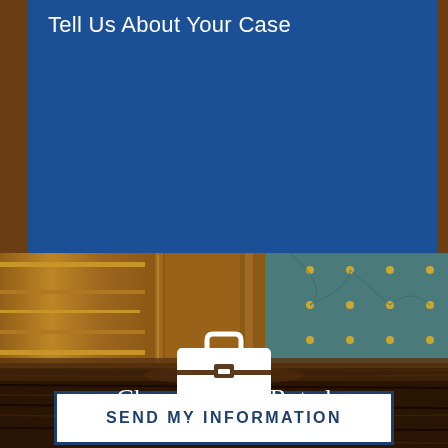Tell Us About Your Case
[Figure (screenshot): Blue form area with title 'Tell Us About Your Case' on dark blue background, overlaid on a law office photo showing wooden panels and tufted leather chair]
SEND MY INFORMATION
[Figure (illustration): White briefcase icon on dark brown wood background]
Choose a Top-Rated Lawyer